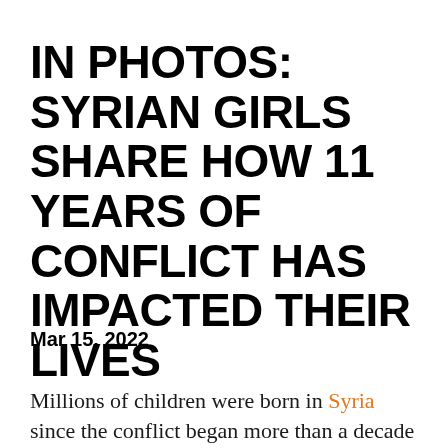IN PHOTOS: SYRIAN GIRLS SHARE HOW 11 YEARS OF CONFLICT HAS IMPACTED THEIR LIVES
Mar 15, 2022
Millions of children were born in Syria since the conflict began more than a decade ago. Thousands have lost family